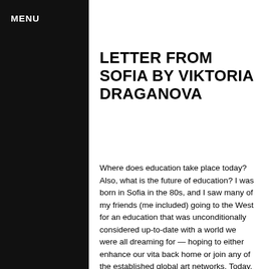MENU
LETTER FROM SOFIA BY VIKTORIA DRAGANOVA
Where does education take place today? Also, what is the future of education? I was born in Sofia in the 80s, and I saw many of my friends (me included) going to the West for an education that was unconditionally considered up-to-date with a world we were all dreaming for — hoping to either enhance our vita back home or join any of the established global art networks. Today, however, communities are heavily shifting, and information is easily retrievable at any place in the world. Under such societal framework, I'm glad to see in the